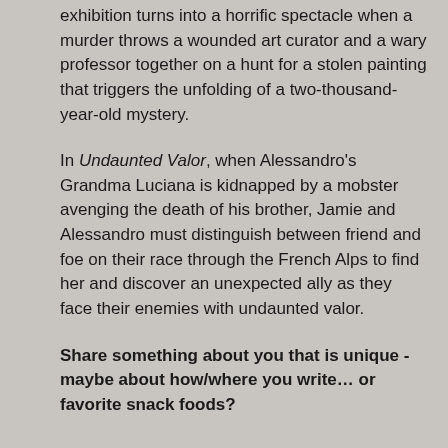exhibition turns into a horrific spectacle when a murder throws a wounded art curator and a wary professor together on a hunt for a stolen painting that triggers the unfolding of a two-thousand-year-old mystery.
In Undaunted Valor, when Alessandro's Grandma Luciana is kidnapped by a mobster avenging the death of his brother, Jamie and Alessandro must distinguish between friend and foe on their race through the French Alps to find her and discover an unexpected ally as they face their enemies with undaunted valor.
Share something about you that is unique - maybe about how/where you write… or favorite snack foods?